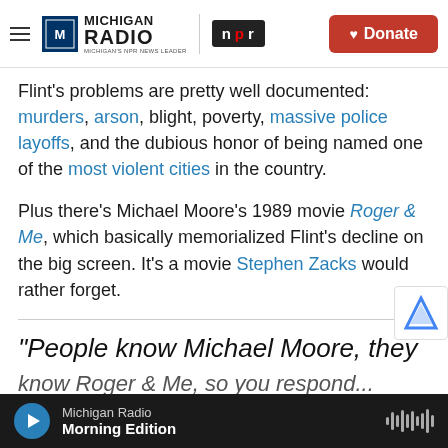Michigan Radio | NPR | Donate
Flint's problems are pretty well documented: murders, arson, blight, poverty, massive police layoffs, and the dubious honor of being named one of the most violent cities in the country.
Plus there's Michael Moore's 1989 movie Roger & Me, which basically memorialized Flint's decline on the big screen. It's a movie Stephen Zacks would rather forget.
"People know Michael Moore, they know Roger & Me, so you respond...
Michigan Radio | Morning Edition